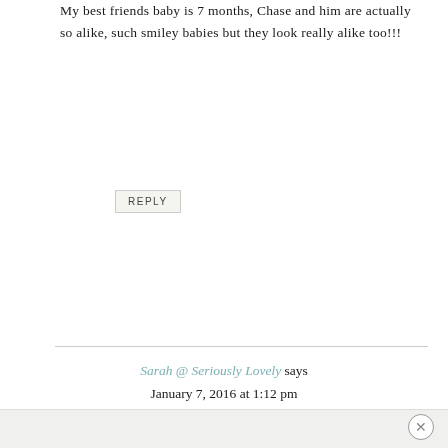My best friends baby is 7 months, Chase and him are actually so alike, such smiley babies but they look really alike too!!!
REPLY
Sarah @ Seriously Lovely says
January 7, 2016 at 1:12 pm
Thank you so much for sharing these updates, it's great to read real and honest new mom experiences!
REPLY
×